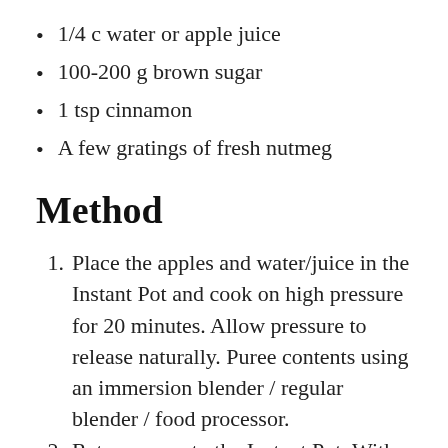1/4 c water or apple juice
100-200 g brown sugar
1 tsp cinnamon
A few gratings of fresh nutmeg
Method
Place the apples and water/juice in the Instant Pot and cook on high pressure for 20 minutes. Allow pressure to release naturally. Puree contents using an immersion blender / regular blender / food processor.
Return puree to the Instant Pot. With the lid propped open for steam ventilation, cook — stirring occasionally — on the slow cooker setting until thick and